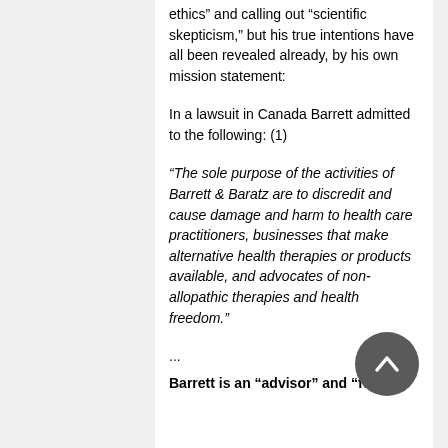ethics” and calling out “scientific skepticism,” but his true intentions have all been revealed already, by his own mission statement:
In a lawsuit in Canada Barrett admitted to the following: (1)
“The sole purpose of the activities of Barrett & Baratz are to discredit and cause damage and harm to health care practitioners, businesses that make alternative health therapies or products available, and advocates of non-allopathic therapies and health freedom.”
...
Barrett is an “advisor” and “fellow”